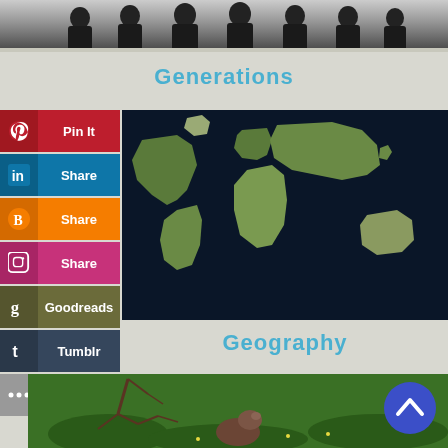[Figure (photo): Black and white historical group photo of people, cropped at top of page]
Generations
Pin It
Share (LinkedIn)
Share (Blogger)
Share (Instagram)
Goodreads
Tumblr
More
[Figure (map): World map showing continents on dark blue ocean background]
Geography
[Figure (photo): Photo of a groundhog or similar animal in green grass with bare branches]